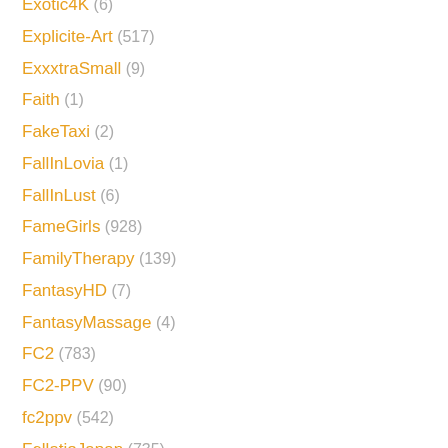Exotic4K (6)
Explicite-Art (517)
ExxxtraSmall (9)
Faith (1)
FakeTaxi (2)
FallInLovia (1)
FallInLust (6)
FameGirls (928)
FamilyTherapy (139)
FantasyHD (7)
FantasyMassage (4)
FC2 (783)
FC2-PPV (90)
fc2ppv (542)
FellatioJapan (735)